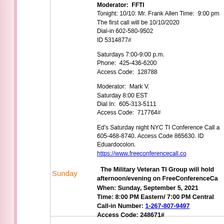Moderator:  FFTI
Tonight: 10/10: Mr. Frank Allen Time:  9:00 pm
The first call will be 10/10/2020
Dial-in 602-580-9502
ID 5314877#
Saturdays 7:00-9:00 p.m.
Phone:  425-436-6200
Access Code:  128788
Moderator:  Mark V.
Saturday 8:00 EST
Dial In:  605-313-5111
Access Code:  717764#
Ed's Saturday night NYC TI Conference Call a 605-468-8740. Access Code 865630. ID Eduardocolon. https://www.freeconferencecall.co
The Military Veteran TI Group will hold afternoon/evening on FreeConferenceCa When: Sunday, September 5, 2021 Time: 8:00 PM Eastern/ 7:00 PM Central Call-in Number: 1-267-807-9497 Access Code: 248671#
Sunday